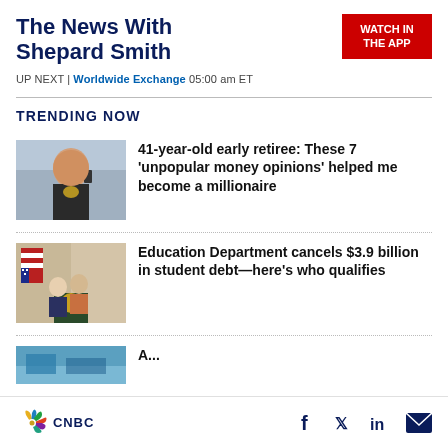The News With Shepard Smith
WATCH IN THE APP
UP NEXT | Worldwide Exchange 05:00 am ET
TRENDING NOW
[Figure (photo): Man taking selfie outdoors on phone]
41-year-old early retiree: These 7 ‘unpopular money opinions’ helped me become a millionaire
[Figure (photo): Officials at a podium with American flag background]
Education Department cancels $3.9 billion in student debt—here’s who qualifies
[Figure (photo): Partial image of third news article, partially cut off]
A...
CNBC | Facebook | Twitter | LinkedIn | Email